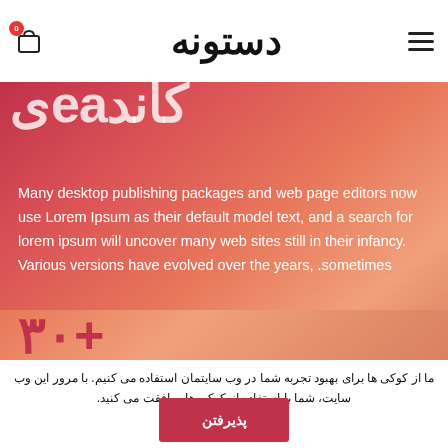دستونه
یeaكاند
Many desktop publishing packages and web page editors now use Lorem Ipsum as their default model text, and a search for lorem ipsum will uncover many web sites still in their infancy. Various versions have evolved over the years, sometimes.
+۳۰
ما از کوکی ها برای بهبود تجربه شما در وب سایتمان استفاده می کنیم. با مرور این وب سایت، شما با استفاده از کوکی ها موافقت می کنید.
پذیرفتن